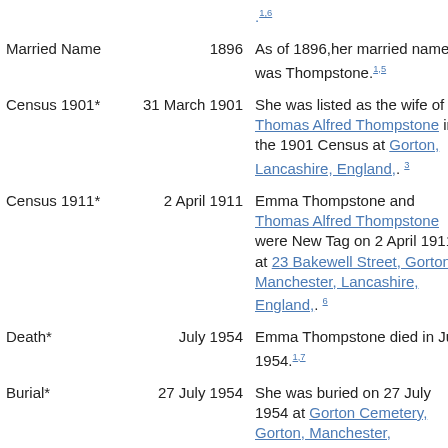| Event | Date | Description |
| --- | --- | --- |
|  |  | .1,6 (top ref) |
| Married Name | 1896 | As of 1896,her married name was Thompstone.1,5 |
| Census 1901* | 31 March 1901 | She was listed as the wife of Thomas Alfred Thompstone in the 1901 Census at Gorton, Lancashire, England,. 3 |
| Census 1911* | 2 April 1911 | Emma Thompstone and Thomas Alfred Thompstone were New Tag on 2 April 1911 at 23 Bakewell Street, Gorton, Manchester, Lancashire, England,. 6 |
| Death* | July 1954 | Emma Thompstone died in July 1954.1,7 |
| Burial* | 27 July 1954 | She was buried on 27 July 1954 at Gorton Cemetery, Gorton, Manchester, |